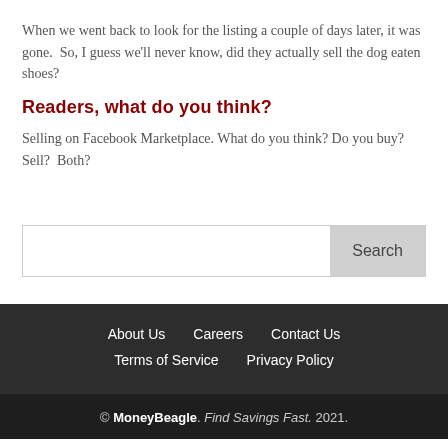When we went back to look for the listing a couple of days later, it was gone.  So, I guess we'll never know, did they actually sell the dog eaten shoes?
Readers, what do you think?
Selling on Facebook Marketplace. What do you think? Do you buy? Sell?  Both?
[Figure (other): Search input field with Search button]
About Us   Careers   Contact Us   Terms of Service   Privacy Policy
© MoneyBeagle. Find Savings Fast. 2021.